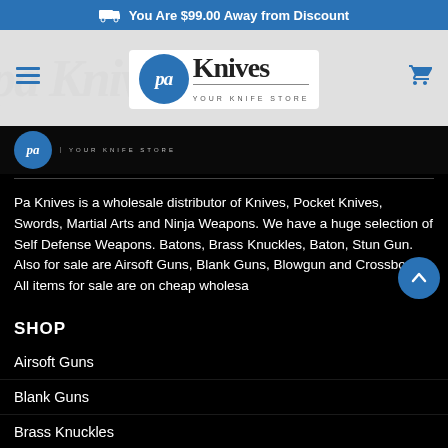You Are $99.00 Away from Discount
[Figure (logo): PA Knives logo — blue circle with PA italic text, followed by 'Knives' in large serif font, tagline 'YOUR KNIFE STORE' below. Hamburger menu icon on left, shopping cart icon on right.]
Pa Knives is a wholesale distributor of Knives, Pocket Knives, Swords, Martial Arts and Ninja Weapons. We have a huge selection of Self Defense Weapons. Batons, Brass Knuckles, Baton, Stun Gun. Also for sale are Airsoft Guns, Blank Guns, Blowgun and Crossbow. All items for sale are on cheap wholesa...
SHOP
Airsoft Guns
Blank Guns
Brass Knuckles
Pocket Knives
Stun Gun (truncated)